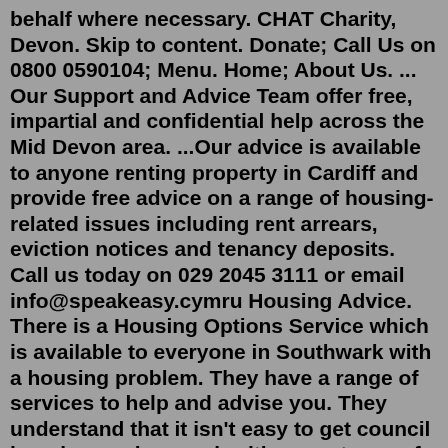behalf where necessary. CHAT Charity, Devon. Skip to content. Donate; Call Us on 0800 0590104; Menu. Home; About Us. ... Our Support and Advice Team offer free, impartial and confidential help across the Mid Devon area. ...Our advice is available to anyone renting property in Cardiff and provide free advice on a range of housing-related issues including rent arrears, eviction notices and tenancy deposits. Call us today on 029 2045 3111 or email info@speakeasy.cymru Housing Advice. There is a Housing Options Service which is available to everyone in Southwark with a housing problem. They have a range of services to help and advise you. They understand that it isn't easy to get council housing, and so work with many types of providers to help you find the home you need as quickly as possible.Please call or email for legal advice about your tenancy. HOME Line provides free and low-cost legal, organizing, education, and advocacy services so that tenants throughout Minnesota can solve their own rental housing problems. We work to improve public